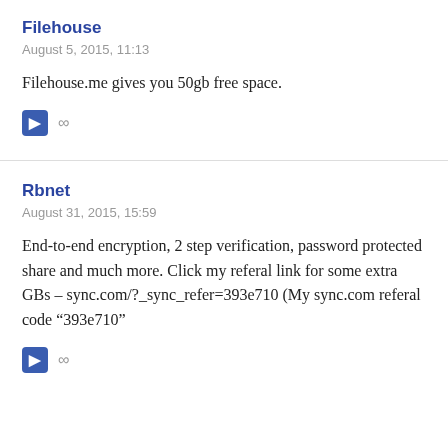Filehouse
August 5, 2015, 11:13
Filehouse.me gives you 50gb free space.
Rbnet
August 31, 2015, 15:59
End-to-end encryption, 2 step verification, password protected share and much more. Click my referal link for some extra GBs – sync.com/?_sync_refer=393e710 (My sync.com referal code “393e710”